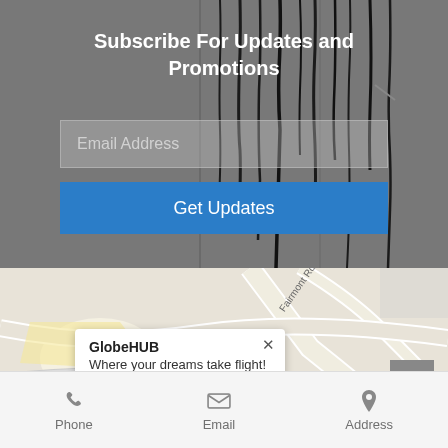Subscribe For Updates and Promotions
[Figure (screenshot): Email address input field with placeholder text on dark background]
[Figure (screenshot): Blue 'Get Updates' button]
[Figure (map): Google Maps view showing GlobeHUB location near DeKalb-Peachtree. Popup shows 'GlobeHUB - Where your dreams take flight!' with a Directions link. Road 141 and Fairmont Rd visible.]
GlobeHUB
Where your dreams take flight!
Directions
DeKalb-Peachtree